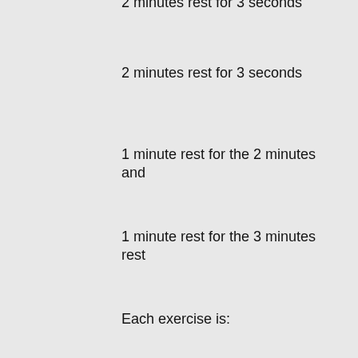2 minutes rest for 3 seconds
1 minute rest for the 2 minutes and
1 minute rest for the 3 minutes rest
Each exercise is:
6 sets of 10, each taking 5 seconds to complete
10 reps for a total of 10 seconds
10 reps for a total of 12 seconds
If you choose to do this, your 5s and 10s will remain the same, the rest stays the same so you can simply do 10s and reps again as much as you want. For example: